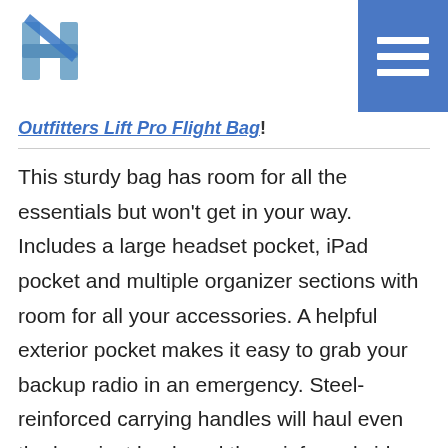Outfitters Lift Pro Flight Bag!
This sturdy bag has room for all the essentials but won't get in your way. Includes a large headset pocket, iPad pocket and multiple organizer sections with room for all your accessories. A helpful exterior pocket makes it easy to grab your backup radio in an emergency. Steel-reinforced carrying handles will haul even the heaviest load, and the reinforced sides offer additional protection. The signature orange interior makes it easy to find the flashlight or pen in the dark.